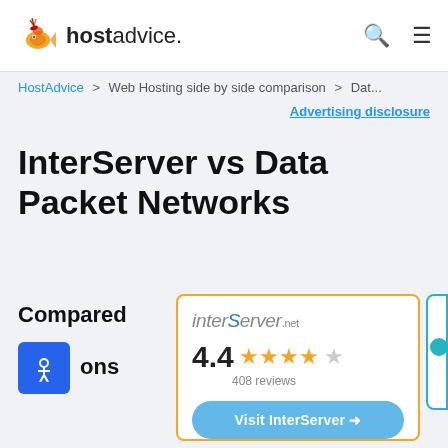hostadvice. [search icon] [menu icon]
HostAdvice > Web Hosting side by side comparison > Dat...
Advertising disclosure
InterServer vs Data Packet Networks
Compared options
[Figure (logo): InterServer logo with rating: 4.4 stars (408 reviews) and Visit InterServer button]